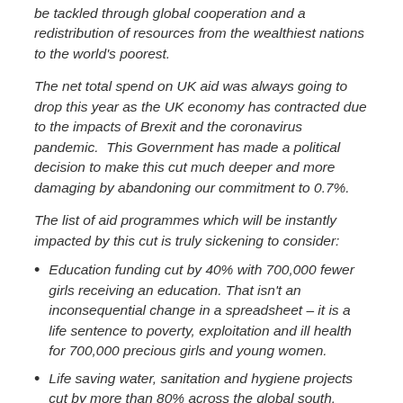be tackled through global cooperation and a redistribution of resources from the wealthiest nations to the world's poorest.
The net total spend on UK aid was always going to drop this year as the UK economy has contracted due to the impacts of Brexit and the coronavirus pandemic.  This Government has made a political decision to make this cut much deeper and more damaging by abandoning our commitment to 0.7%.
The list of aid programmes which will be instantly impacted by this cut is truly sickening to consider:
Education funding cut by 40% with 700,000 fewer girls receiving an education. That isn't an inconsequential change in a spreadsheet – it is a life sentence to poverty, exploitation and ill health for 700,000 precious girls and young women.
Life saving water, sanitation and hygiene projects cut by more than 80% across the global south. People will die preventable deaths.